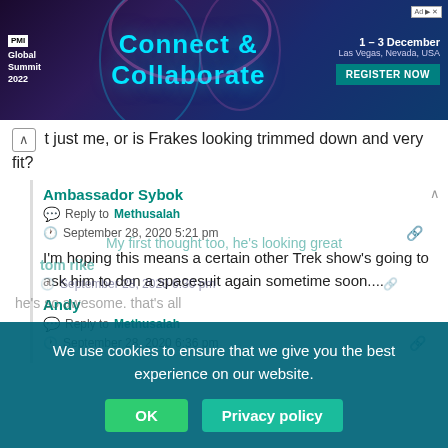[Figure (screenshot): PMI Global Summit 2022 banner advertisement with Connect & Collaborate text, dates 1-3 December, Las Vegas Nevada USA, and Register Now button]
t just me, or is Frakes looking trimmed down and very fit?
Ambassador Sybok
Reply to Methusalah
September 28, 2020 5:21 pm
I'm hoping this means a certain other Trek show's going to ask him to don a spacesuit again sometime soon....
Andy
Reply to Methusalah
September 28, 2020 6:36 pm
My first thought too, he's looking great
tom rike
September 28, 2020 6:30 pm
he's so awesome. that's all
We use cookies to ensure that we give you the best experience on our website.
OK
Privacy policy